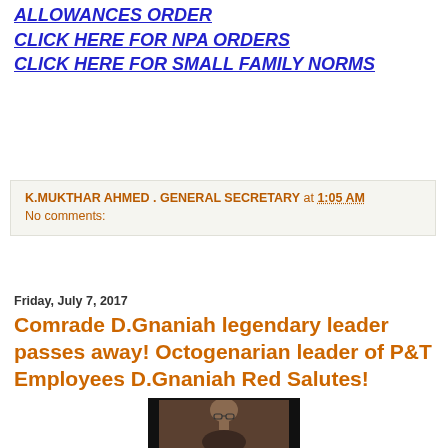ALLOWANCES ORDER
CLICK HERE FOR NPA ORDERS
CLICK HERE FOR SMALL FAMILY NORMS
K.MUKTHAR AHMED . GENERAL SECRETARY at 1:05 AM
No comments:
Friday, July 7, 2017
Comrade D.Gnaniah legendary leader passes away! Octogenarian leader of P&T Employees D.Gnaniah Red Salutes!
[Figure (photo): Portrait photo of Comrade D.Gnaniah in a black frame, showing an elderly bald man wearing glasses]